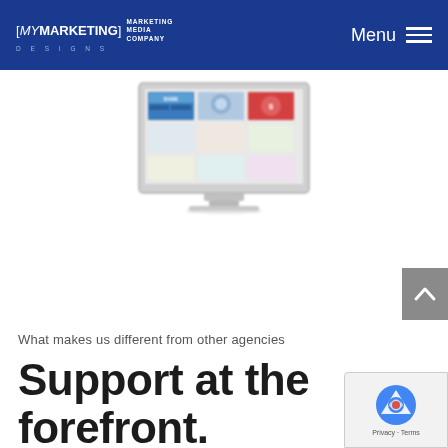[MYMARKETING] MARKETING MEDIA COMPANY DESIGNS | Menu
[Figure (illustration): iMac desktop computer monitor displaying colorful website design thumbnails, shown centered in a white area below the navigation header]
What makes us different from other agencies
Support at the forefront.
[Figure (other): Google reCAPTCHA badge with logo and Privacy - Terms text in bottom right corner]